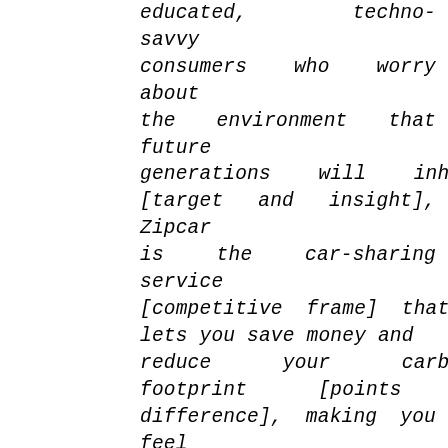educated, techno-savvy consumers who worry about the environment that future generations will inherit [target and insight], Zipcar is the car-sharing service [competitive frame] that lets you save money and reduce your carbon footprint [points of difference], making you feel you've made a smart, responsible choice that demonstrates your commitment to protecting